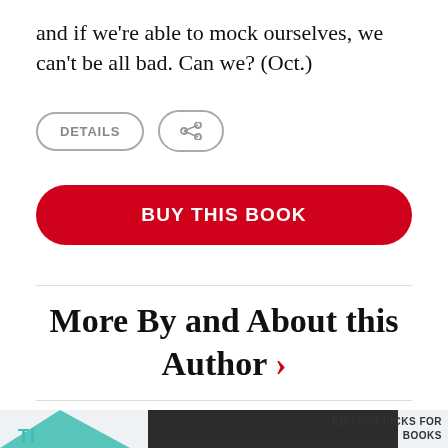and if we're able to mock ourselves, we can't be all bad. Can we? (Oct.)
[Figure (other): Two buttons: a 'DETAILS' button with rounded border and a share icon button with rounded border]
[Figure (other): Red 'BUY THIS BOOK' button with rounded corners]
More By and About this Author >
[Figure (other): Bottom banner with teal graphic element, dark overlay block, and 'EDITORS PICKS FOR BOOKS' text on light blue background]